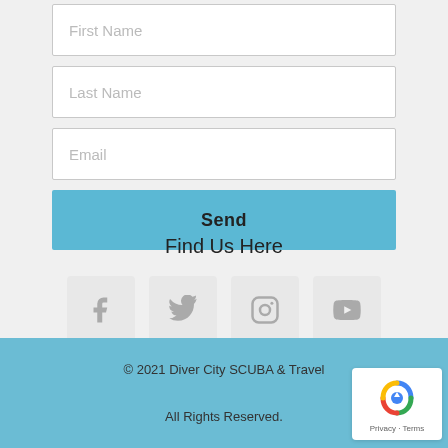First Name
Last Name
Email
Send
Find Us Here
[Figure (infographic): Social media icons: Facebook, Twitter, Instagram, YouTube]
© 2021 Diver City SCUBA & Travel
All Rights Reserved.